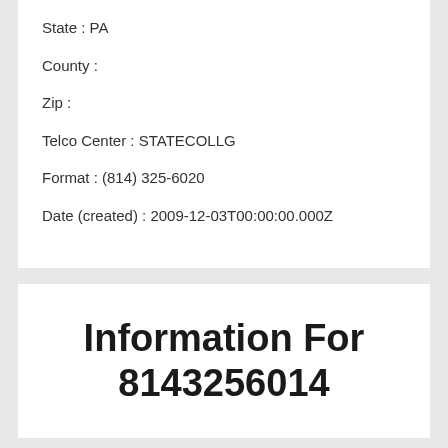State:  PA
County:
Zip:
Telco Center:  STATECOLLG
Format:  (814) 325-6020
Date (created):  2009-12-03T00:00:00.000Z
Information For 8143256014